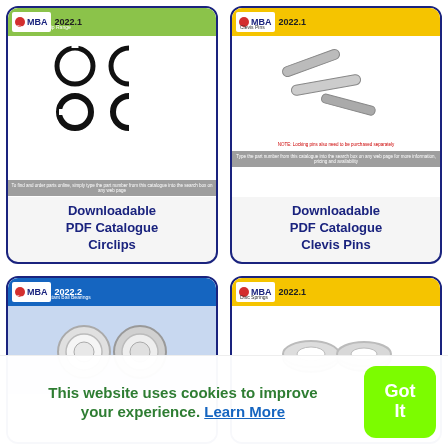[Figure (screenshot): MBA 2022.1 Circlip and E-Clip Range downloadable PDF catalogue thumbnail showing circlip shapes]
Downloadable PDF Catalogue Circlips
[Figure (screenshot): MBA 2022.1 Clevis Pins downloadable PDF catalogue thumbnail showing pin images]
Downloadable PDF Catalogue Clevis Pins
[Figure (screenshot): MBA 2022.2 Corrosion Resistant Ball Bearings downloadable PDF catalogue thumbnail showing ball bearings]
[Figure (screenshot): MBA 2022.1 Disc Springs downloadable PDF catalogue thumbnail showing disc springs]
This website uses cookies to improve your experience. Learn More
Got It